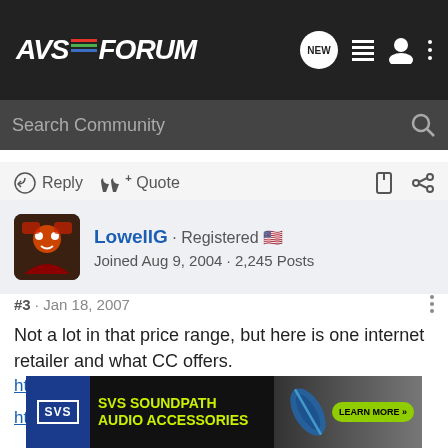[Figure (logo): AVSForum logo with colored lines and nav icons on dark bar]
Search Community
Reply  Quote
LowellG · Registered
Joined Aug 9, 2004 · 2,245 Posts
#3 · Jan 18, 2007
Not a lot in that price range, but here is one internet retailer and what CC offers.
http://www.fluance.com/fluanhigthre.html
http://www.circuitcity.com/ssm/Speak...ategorylist.do
[Figure (illustration): SVS SoundPath Audio Accessories advertisement banner]